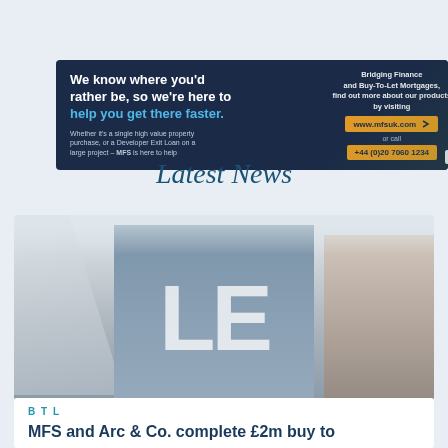[Figure (illustration): MFS advertisement banner with dark navy background. Left side: bold white/blue headline 'We know where you'd rather be, so we're here to help you get there faster.' with smaller grey subtext about single high value property purchase and Developer Exit Loan. Right side: text 'Bridging Finance and Buy-To-Let Mortgages, find out more about our products by visiting' with orange URL box 'www.mfsuk.com', 'or call' text, orange phone box '+44 (0)20 7060 1234', and MFS logo in white box bottom right. Tropical/property scene imagery on right side.]
Latest News
[Figure (photo): Blurred photograph of a 'LET' property sign board in blue/grey, with a brick residential building and bare tree branches visible in the blurred background. The large letters 'LE' are prominently visible.]
BTL
MFS and Arc & Co. complete £2m buy to